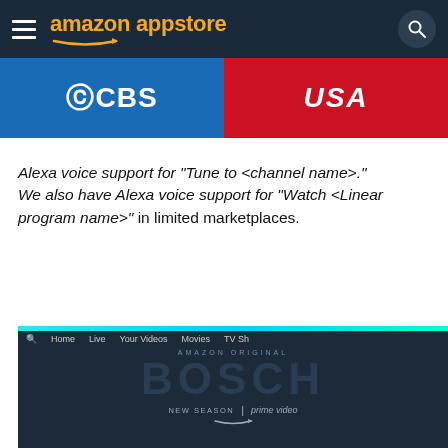amazon appstore
[Figure (screenshot): CBS and USA network logos on dark banner strip]
Alexa voice support for "Tune to <channel name>." We also have Alexa voice support for "Watch <Linear program name>" in limited marketplaces.
[Figure (screenshot): Amazon Prime Video app screenshot showing BOSCH Amazon Original series with navigation bar at top]